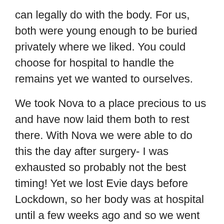can legally do with the body. For us, both were young enough to be buried privately where we liked. You could choose for hospital to handle the remains yet we wanted to ourselves.
We took Nova to a place precious to us and have now laid them both to rest there. With Nova we were able to do this the day after surgery- I was exhausted so probably not the best timing! Yet we lost Evie days before Lockdown, so her body was at hospital until a few weeks ago and so we went to bury her.
Hence me standing in Lidl wanting to shout “We buried our baby this morning”!
If you don’t have your baby with you to bury. There are other beautiful things I have seen if you'd like to mark their